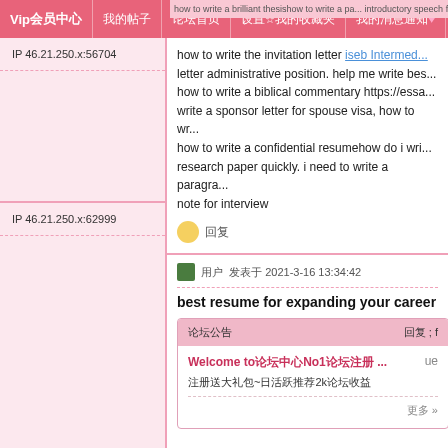Vip会员中心 | 我的帖子 | 论坛首页 | 设置☆我的收藏夹 | 我的消息通知♥
how to write a brilliant thesishow to write a pa... introductory speech for thesis defense.
IP 46.21.250.x:56704
how to write the invitation letter iseb Intermed... letter administrative position. help me write bes... how to write a biblical commentary https://essa... write a sponsor letter for spouse visa, how to wr... how to write a confidential resumehow do i wri... research paper quickly. i need to write a paragra... note for interview
回复
IP 46.21.250.x:62999
用户 发表于 2021-3-16 13:34:42
best resume for expanding your career
论坛公告 回复 ; f
Welcome to论坛中心No1论坛注册 ... ue
注册送大礼包~日活跃推荐2k论坛收益
更多 »